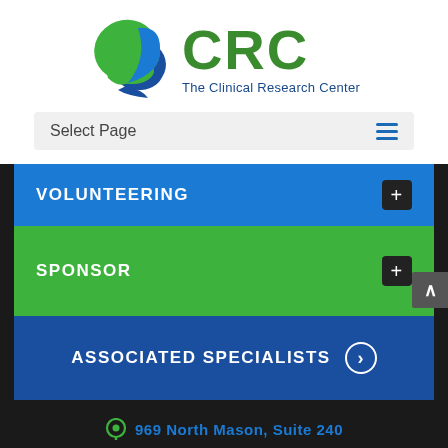[Figure (logo): CRC - The Clinical Research Center logo with green leaf and blue crescent icon]
Select Page
VOLUNTEERING
SPONSOR
ASSOCIATED SPECIALISTS
969 North Mason, Suite 240